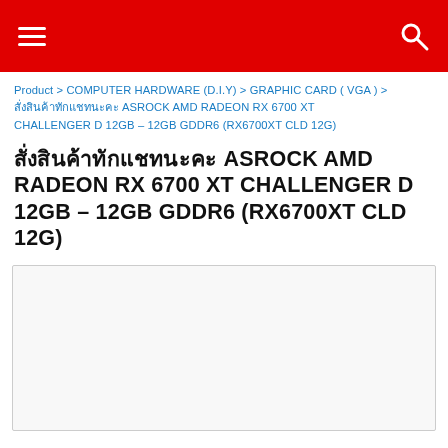☰  [menu icon]   🔍 [search icon]
Product > COMPUTER HARDWARE (D.I.Y) > GRAPHIC CARD ( VGA ) > สั่งสินค้าทักแชทนะคะ ASROCK AMD RADEON RX 6700 XT CHALLENGER D 12GB – 12GB GDDR6 (RX6700XT CLD 12G)
สั่งสินค้าทักแชทนะคะ ASROCK AMD RADEON RX 6700 XT CHALLENGER D 12GB – 12GB GDDR6 (RX6700XT CLD 12G)
[Figure (photo): Product image placeholder box — empty white/light gray area with border]